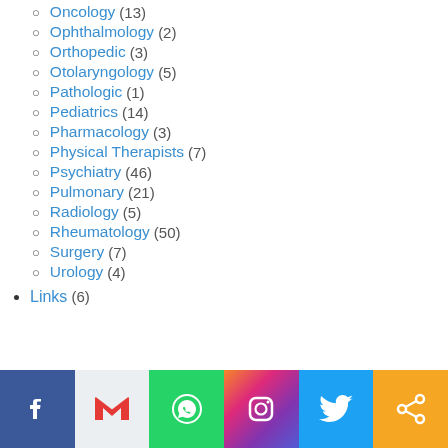Oncology (13)
Ophthalmology (2)
Orthopedic (3)
Otolaryngology (5)
Pathologic (1)
Pediatrics (14)
Pharmacology (3)
Physical Therapists (7)
Psychiatry (46)
Pulmonary (21)
Radiology (5)
Rheumatology (50)
Surgery (7)
Urology (4)
Links (6)
[Figure (other): Social sharing footer bar with Facebook, Gmail, WhatsApp, Instagram, Twitter, and share icons]